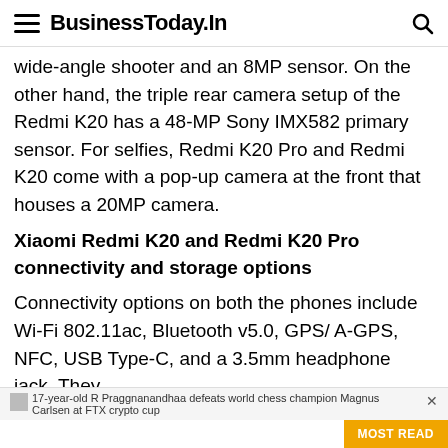BusinessToday.In
wide-angle shooter and an 8MP sensor. On the other hand, the triple rear camera setup of the Redmi K20 has a 48-MP Sony IMX582 primary sensor. For selfies, Redmi K20 Pro and Redmi K20 come with a pop-up camera at the front that houses a 20MP camera.
Xiaomi Redmi K20 and Redmi K20 Pro connectivity and storage options
Connectivity options on both the phones include Wi-Fi 802.11ac, Bluetooth v5.0, GPS/ A-GPS, NFC, USB Type-C, and a 3.5mm headphone jack. They
17-year-old R Praggnanandhaa defeats world chess champion Magnus Carlsen at FTX crypto cup
MOST READ